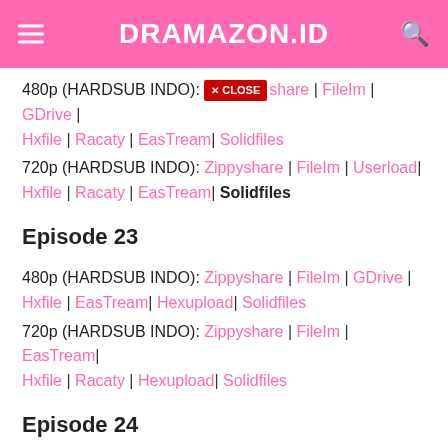DRAMAZON.ID
480p (HARDSUB INDO): [CLOSE] share | FileIm | GDrive | Hxfile | Racaty | EasTream| Solidfiles
720p (HARDSUB INDO): Zippyshare | FileIm | Userload| Hxfile | Racaty | EasTream| Solidfiles
Episode 23
480p (HARDSUB INDO): Zippyshare | FileIm | GDrive | Hxfile | EasTream| Hexupload| Solidfiles
720p (HARDSUB INDO): Zippyshare | FileIm | EasTream| Hxfile | Racaty | Hexupload| Solidfiles
Episode 24
480p (HARDSUB INDO): Zippyshare | | GDrive | Hxfile | EasTream| Hexupload| Solidfiles